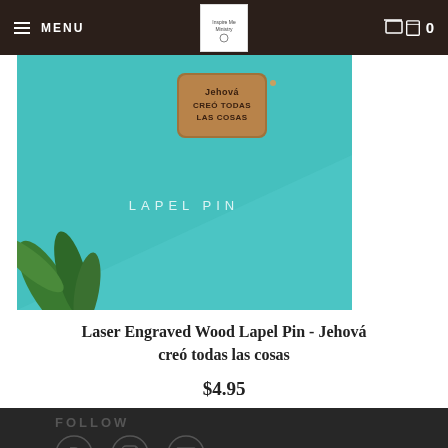MENU | [logo] | 0
[Figure (photo): Product photo of a laser engraved wooden lapel pin on a teal background with green leaves. The pin reads 'Jehová creó todas las cosas'. Text overlay reads 'LAPEL PIN'.]
Laser Engraved Wood Lapel Pin - Jehová creó todas las cosas
$4.95
FOLLOW